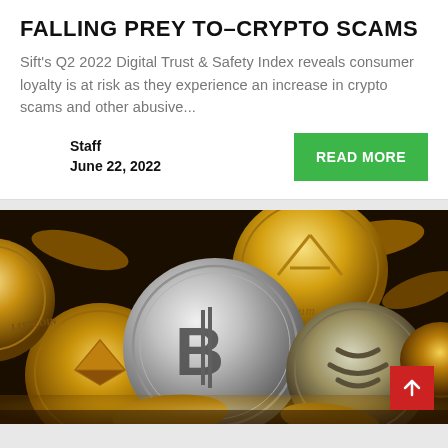FALLING PREY TO–CRYPTO SCAMS
Sift's Q2 2022 Digital Trust & Safety Index reveals consumer loyalty is at risk as they experience an increase in crypto scams and other abusive...
Staff
June 22, 2022
READ MORE
[Figure (photo): A pile of physical cryptocurrency coins including a silver Bitcoin coin in the center, gold Ethereum coin with logo, Ripple coin, Litecoin, and other gold crypto coins scattered together]